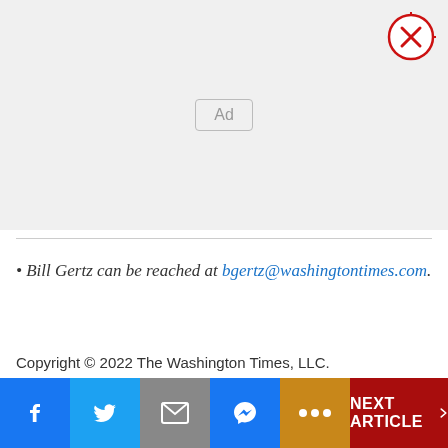[Figure (other): Advertisement placeholder box with 'Ad' label and close (X) button in top right corner]
• Bill Gertz can be reached at bgertz@washingtontimes.com.
Copyright © 2022 The Washington Times, LLC. Click here for reprint permission.
Facebook | Twitter | Email | Messenger | More | NEXT ARTICLE >